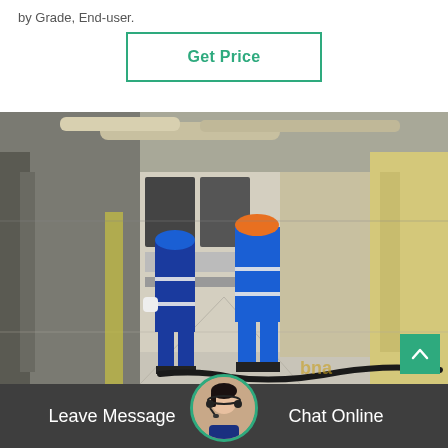by Grade, End-user.
[Figure (other): A green-bordered button labeled 'Get Price']
[Figure (photo): Industrial facility interior showing two workers in blue coveralls and hard hats working near electrical cabinets and machinery, with cables on the floor and yellow pillars in background]
Leave Message
Chat Online